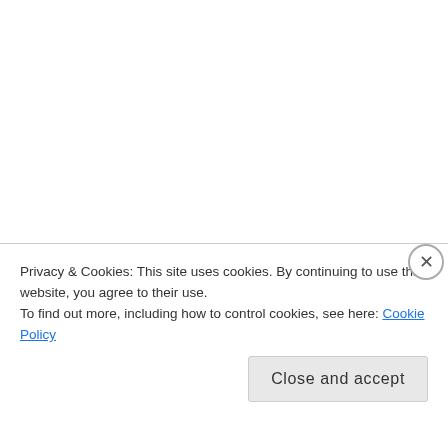On Tuesday we had a new routine in strip aerobics. I really didn't like it at first. A lot of strange combinations and weird steps... But by the end of the class the routine grew on me and I started enjoying it. I already get worried how I'm going to say "I didn't...
Privacy & Cookies: This site uses cookies. By continuing to use this website, you agree to their use.
To find out more, including how to control cookies, see here: Cookie Policy
Close and accept